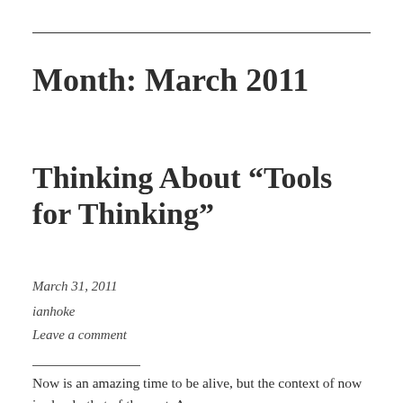Month: March 2011
Thinking About “Tools for Thinking”
March 31, 2011
ianhoke
Leave a comment
Now is an amazing time to be alive, but the context of now is clearly that of the past. A case